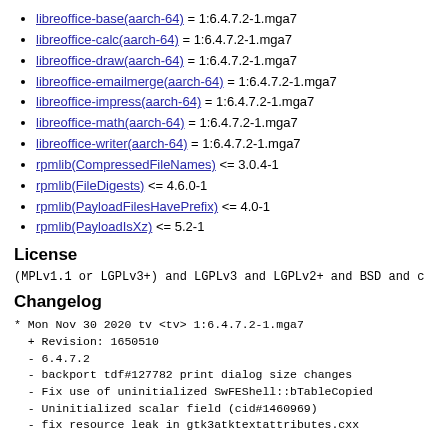libreoffice-base(aarch-64) = 1:6.4.7.2-1.mga7
libreoffice-calc(aarch-64) = 1:6.4.7.2-1.mga7
libreoffice-draw(aarch-64) = 1:6.4.7.2-1.mga7
libreoffice-emailmerge(aarch-64) = 1:6.4.7.2-1.mga7
libreoffice-impress(aarch-64) = 1:6.4.7.2-1.mga7
libreoffice-math(aarch-64) = 1:6.4.7.2-1.mga7
libreoffice-writer(aarch-64) = 1:6.4.7.2-1.mga7
rpmlib(CompressedFileNames) <= 3.0.4-1
rpmlib(FileDigests) <= 4.6.0-1
rpmlib(PayloadFilesHavePrefix) <= 4.0-1
rpmlib(PayloadIsXz) <= 5.2-1
License
(MPLv1.1 or LGPLv3+) and LGPLv3 and LGPLv2+ and BSD and c
Changelog
* Mon Nov 30 2020 tv <tv> 1:6.4.7.2-1.mga7
  + Revision: 1650510
  - 6.4.7.2
  - backport tdf#127782 print dialog size changes
  - Fix use of uninitialized SwFEShell::bTableCopied
  - Uninitialized scalar field (cid#1460969)
  - fix resource leak in gtk3atktextattributes.cxx